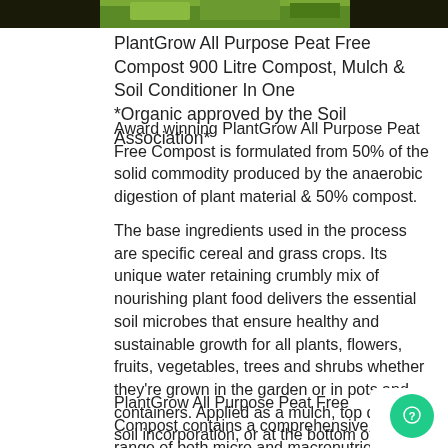[Figure (photo): Partial photo of plant/garden material, dark background with green foliage visible at top of page]
PlantGrow All Purpose Peat Free Compost 900 Litre Compost, Mulch & Soil Conditioner In One *Organic approved by the Soil Association*
Award winning PlantGrow All Purpose Peat Free Compost is formulated from 50% of the solid commodity produced by the anaerobic digestion of plant material & 50% compost.
The base ingredients used in the process are specific cereal and grass crops. Its unique water retaining crumbly mix of nourishing plant food delivers the essential soil microbes that ensure healthy and sustainable growth for all plants, flowers, fruits, vegetables, trees and shrubs whether they're grown in the garden or in pots and containers. Applied as a mulch, top dressing, soil incorporation, or at the bottom of planting holes, PlantGrow All Purpose Peat Free Compost will consistently deliver outstanding results.
PlantGrow All Purpose Peat Free Compost contains a comprehensive range of both micro and macronutrients that will revitalise soil to optimise